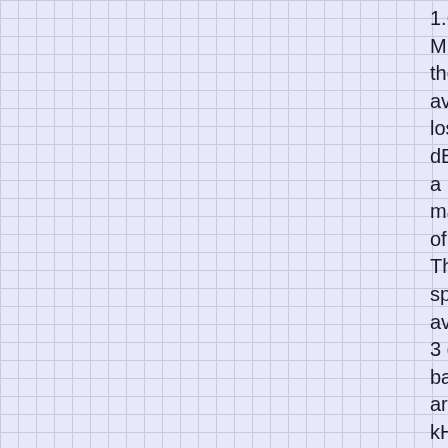1.6 MHz, the average loss is 4 dB, with a maximum of 7 dB. The specified average 3 dB bandwidths are 15 kHz for the range of 0.45 to 1.6 MHz, 50 kHz for 1.6 to 4.0 MHz,